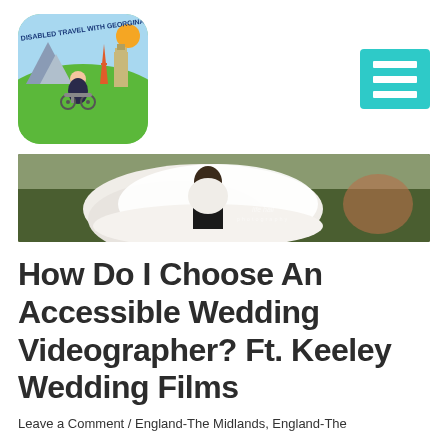[Figure (logo): Disabled Travel with Georgina logo — woman in wheelchair against illustrated travel background, rounded square]
[Figure (other): Teal/turquoise hamburger menu button icon with three white horizontal bars]
[Figure (photo): Wedding photo — person in a white flowing wedding dress from behind, outdoors on grass, with a small watermark reading 'life hall photography']
How Do I Choose An Accessible Wedding Videographer? Ft. Keeley Wedding Films
Leave a Comment / England-The Midlands, England-The